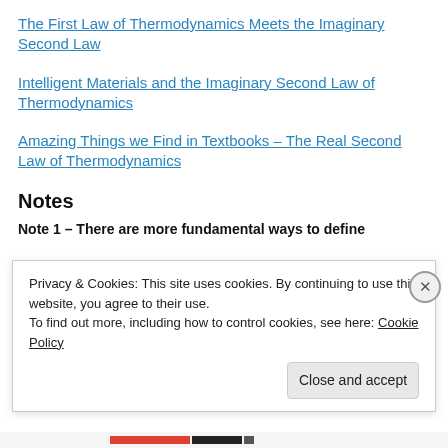The First Law of Thermodynamics Meets the Imaginary Second Law
Intelligent Materials and the Imaginary Second Law of Thermodynamics
Amazing Things we Find in Textbooks – The Real Second Law of Thermodynamics
Notes
Note 1 – There are more fundamental ways to define
Privacy & Cookies: This site uses cookies. By continuing to use this website, you agree to their use.
To find out more, including how to control cookies, see here: Cookie Policy